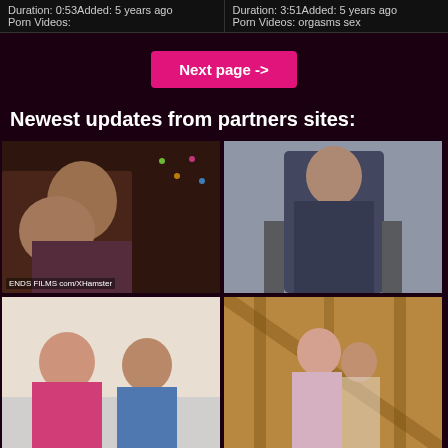Duration: 0:53Added: 5 years ago
Porn Videos:
Duration: 3:51Added: 5 years ago
Porn Videos: orgasms sex
Next page ->
Newest updates from partners sites:
[Figure (photo): Two women in a dimly lit room, one resting on the other, with string lights in background. Watermark: ENDS FILMS com/XHamster]
[Figure (photo): A woman in a dark dress sitting on a chair in a modern interior]
[Figure (photo): A woman in colorful outfit and a man in blue shirt sitting together on a couch]
[Figure (photo): Two people in a wooden cabin interior, intimate scene]